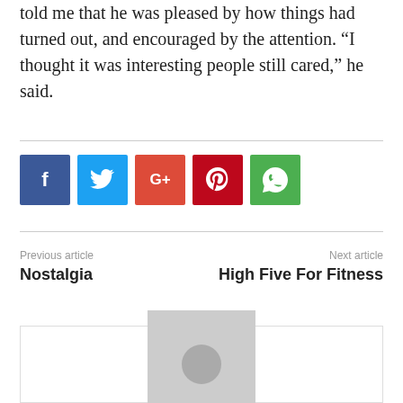told me that he was pleased by how things had turned out, and encouraged by the attention. “I thought it was interesting people still cared,” he said.
[Figure (other): Row of social media share buttons: Facebook (blue), Twitter (light blue), Google+ (red-orange), Pinterest (dark red), WhatsApp (green)]
Previous article
Nostalgia
Next article
High Five For Fitness
[Figure (other): Author box with placeholder avatar image (gray square with white circle)]